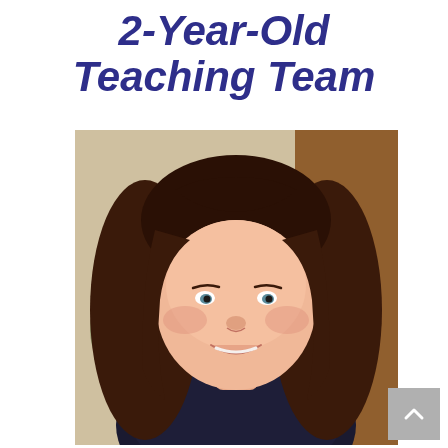2-Year-Old Teaching Team
[Figure (photo): Portrait photo of a woman with long dark brown hair, wearing a dark navy top, smiling at the camera. Background shows a neutral/warm indoor setting with hints of greenery and wooden elements.]